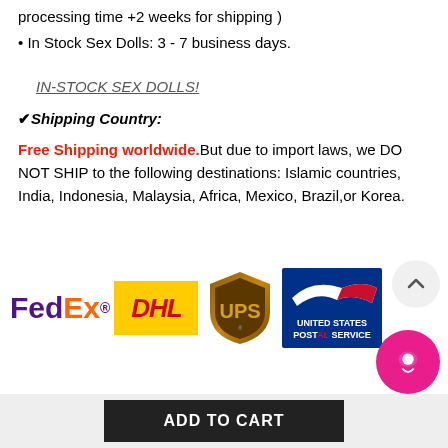processing time +2 weeks for shipping )
In Stock Sex Dolls: 3 - 7 business days.
IN-STOCK SEX DOLLS!
✔Shipping Country:
Free Shipping worldwide.But due to import laws, we DO NOT SHIP to the following destinations: Islamic countries, India, Indonesia, Malaysia, Africa, Mexico, Brazil,or Korea.
[Figure (logo): Shipping carrier logos: FedEx, DHL, UPS, United States Postal Service]
ADD TO CART